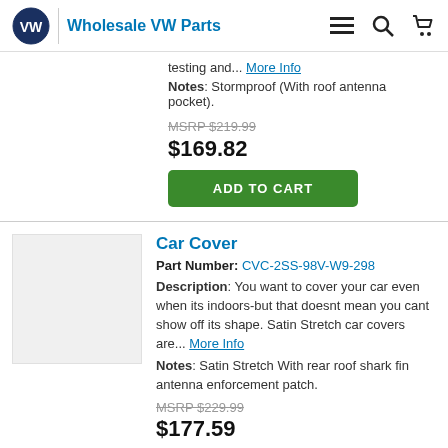Wholesale VW Parts
testing and... More Info
Notes: Stormproof (With roof antenna pocket).
MSRP $219.99
$169.82
ADD TO CART
Car Cover
Part Number: CVC-2SS-98V-W9-298
Description: You want to cover your car even when its indoors-but that doesnt mean you cant show off its shape. Satin Stretch car covers are... More Info
Notes: Satin Stretch With rear roof shark fin antenna enforcement patch.
MSRP $229.99
$177.59